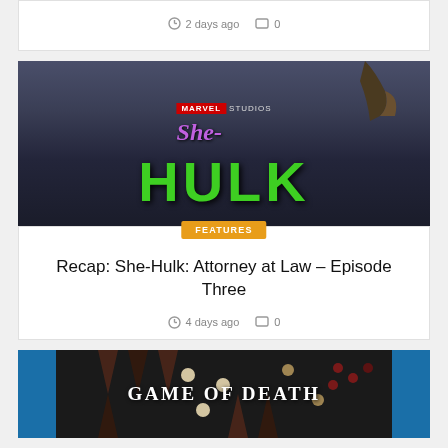2 days ago  0
[Figure (photo): She-Hulk: Attorney at Law Marvel Studios promotional image with green Hulk text and purple cursive She text, with a high-heel shoe at the top]
FEATURES
Recap: She-Hulk: Attorney at Law – Episode Three
4 days ago  0
[Figure (photo): Game of Death movie poster with backgammon board and dice, with blue film strip borders on sides]